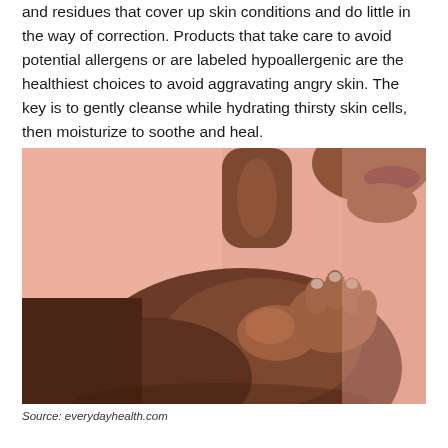and residues that cover up skin conditions and do little in the way of correction. Products that take care to avoid potential allergens or are labeled hypoallergenic are the healthiest choices to avoid aggravating angry skin. The key is to gently cleanse while hydrating thirsty skin cells, then moisturize to soothe and heal.
[Figure (photo): A close-up photograph of a dark-skinned woman's bare shoulder and neck against a pink/salmon background. Her hand is touching her shoulder. The image is a beauty/skin care editorial photo.]
Source: everydayhealth.com